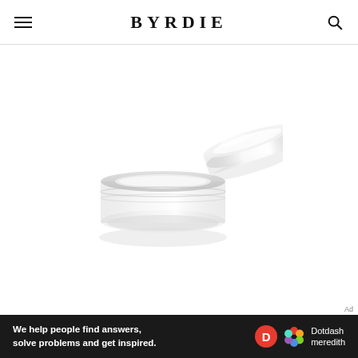BYRDIE
[Figure (photo): A small clear/transparent plastic cosmetic jar with its lid open and tilted to the right, shown on a white background.]
Ad
[Figure (other): Dotdash Meredith advertisement banner: text 'We help people find answers, solve problems and get inspired.' with Dotdash Meredith logo on black background.]